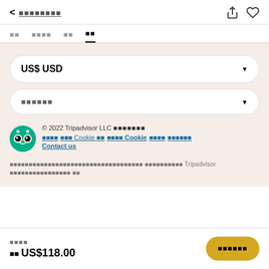< ■■■■■■■■
■■  ■■■■  ■■  ■■
US$ USD
■■■■■■
© 2022 Tripadvisor LLC ■■■■■■■
■■■■  ■■■ Cookie ■■  ■■■■ Cookie  ■■■■  ■■■■■■
Contact us
■■■■■■■■■■■■■■■■■■■■■■■■■■■■■■■■ ■■■■■■■■■■ Tripadvisor ■■■■■■■■■■■■■■■■ ■■
■■■■
■■ US$118.00
■■■■■■